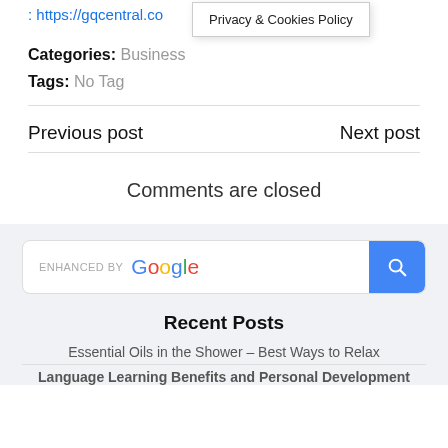: https://gqcentral.co…
Privacy & Cookies Policy
Categories:  Business
Tags:  No Tag
Previous post
Next post
Comments are closed
[Figure (screenshot): Search bar with 'enhanced by Google' label and blue search button with magnifying glass icon]
Recent Posts
Essential Oils in the Shower – Best Ways to Relax
Language Learning Benefits and Personal Development